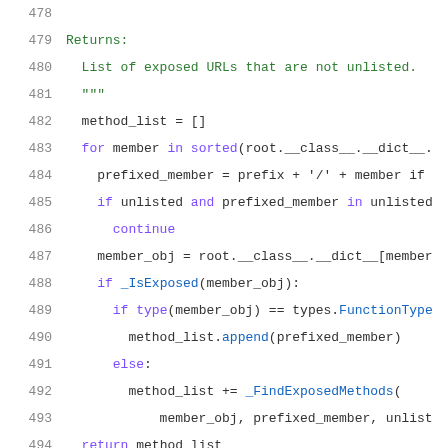Code listing lines 478-499: Python source code showing _FindExposedMethods and _check_base_args_for_auto_update functions